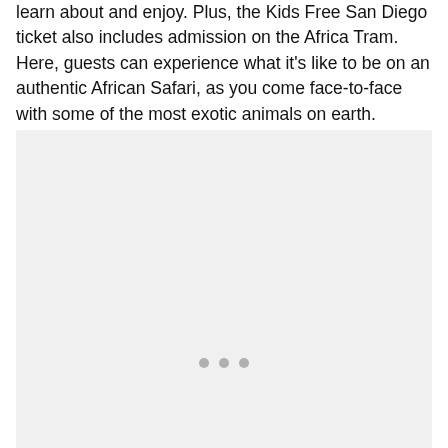learn about and enjoy. Plus, the Kids Free San Diego ticket also includes admission on the Africa Tram. Here, guests can experience what it's like to be on an authentic African Safari, as you come face-to-face with some of the most exotic animals on earth.
[Figure (photo): A large image placeholder with a light gray background, showing three gray dots centered near the bottom, indicating an image carousel or loading state.]